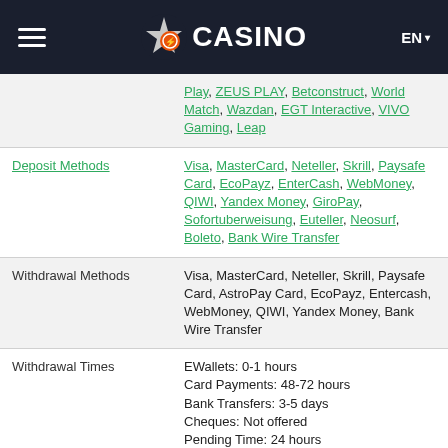CASINO — EN
| Field | Value |
| --- | --- |
|  | Play, ZEUS PLAY, Betconstruct, World Match, Wazdan, EGT Interactive, VIVO Gaming, Leap |
| Deposit Methods | Visa, MasterCard, Neteller, Skrill, Paysafe Card, EcoPayz, EnterCash, WebMoney, QIWI, Yandex Money, GiroPay, Sofortuberweisung, Euteller, Neosurf, Boleto, Bank Wire Transfer |
| Withdrawal Methods | Visa, MasterCard, Neteller, Skrill, Paysafe Card, AstroPay Card, EcoPayz, Entercash, WebMoney, QIWI, Yandex Money, Bank Wire Transfer |
| Withdrawal Times | EWallets: 0-1 hours
Card Payments: 48-72 hours
Bank Transfers: 3-5 days
Cheques: Not offered
Pending Time: 24 hours |
| Withdrawal Limit | No Limits |
| Affiliate Program |  |
| Casino Type | Instant Play, Mobile, Sports |
| Manual Flushing | No |